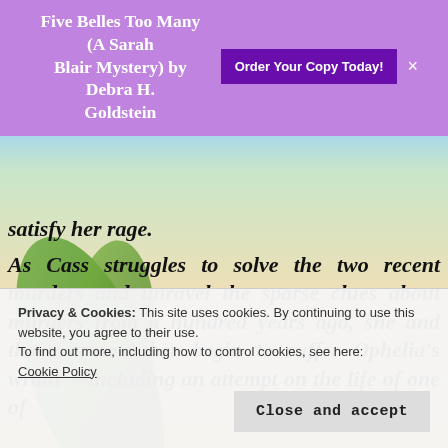Five Belles Too Many (A Sarah Blair Mystery) by Debra H. Goldstein  Order Your Copy Today!
satisfy her rage.
As Cass struggles to solve the two recent murders and unravel the sparse clues about murders from a hundred years ago, she and those around her begin to suffer Ophelia's wrath —including an attempt on the life of one of
Privacy & Cookies: This site uses cookies. By continuing to use this website, you agree to their use.
To find out more, including how to control cookies, see here:
Cookie Policy
Close and accept